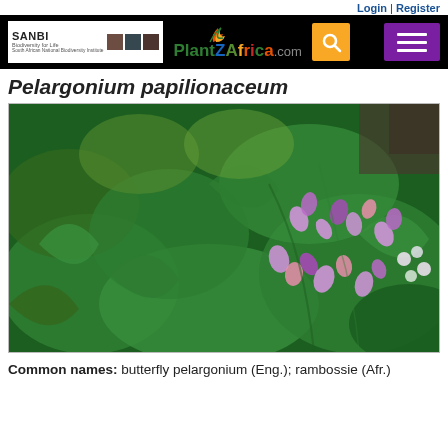Login | Register
[Figure (logo): SANBI and PlantZAfrica.com website header with logos, search button, and hamburger menu on black background]
Pelargonium papilionaceum
[Figure (photo): Photograph of Pelargonium papilionaceum plant showing green foliage with small pink/purple butterfly-shaped flowers]
Common names: butterfly pelargonium (Eng.); rambossie (Afr.)